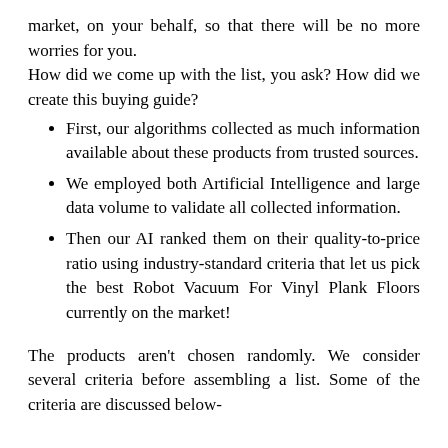market, on your behalf, so that there will be no more worries for you.
How did we come up with the list, you ask? How did we create this buying guide?
First, our algorithms collected as much information available about these products from trusted sources.
We employed both Artificial Intelligence and large data volume to validate all collected information.
Then our AI ranked them on their quality-to-price ratio using industry-standard criteria that let us pick the best Robot Vacuum For Vinyl Plank Floors currently on the market!
The products aren’t chosen randomly. We consider several criteria before assembling a list. Some of the criteria are discussed below-